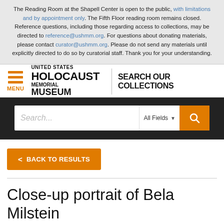The Reading Room at the Shapell Center is open to the public, with limitations and by appointment only. The Fifth Floor reading room remains closed. Reference questions, including those regarding access to collections, may be directed to reference@ushmm.org. For questions about donating materials, please contact curator@ushmm.org. Please do not send any materials until explicitly directed to do so by curatorial staff. Thank you for your understanding.
[Figure (logo): United States Holocaust Memorial Museum logo with hamburger menu and SEARCH OUR COLLECTIONS text]
[Figure (screenshot): Search bar with Search... placeholder, All Fields dropdown, and orange search button]
< BACK TO RESULTS
Close-up portrait of Bela Milstein